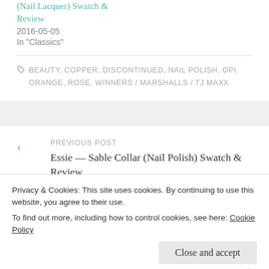(Nail Lacquer) Swatch & Review
2016-05-05
In "Classics"
BEAUTY, COPPER, DISCONTINUED, NAIL POLISH, OPI, ORANGE, ROSE, WINNERS / MARSHALLS / TJ MAXX
PREVIOUS POST
Essie — Sable Collar (Nail Polish) Swatch & Review
Privacy & Cookies: This site uses cookies. By continuing to use this website, you agree to their use.
To find out more, including how to control cookies, see here: Cookie Policy
Close and accept